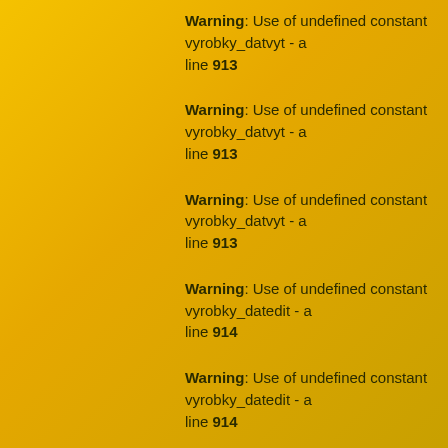Warning: Use of undefined constant vyrobky_datvyt - a line 913
Warning: Use of undefined constant vyrobky_datvyt - a line 913
Warning: Use of undefined constant vyrobky_datvyt - a line 913
Warning: Use of undefined constant vyrobky_datedit - a line 914
Warning: Use of undefined constant vyrobky_datedit - a line 914
Warning: Use of undefined constant vyrobky_datedit - a line 914
Warning: Use of undefined constant vyrobky_datedit - a line 914
Warning: Use of undefined constant vyrobky_kod_ean - on line 916
Warning: Use of undefined constant user_firma_nazev - on line 918
Warning: Use of undefined constant vyr /data/web/virtuals/86721/virtual/www/vyrobky/vyrobk